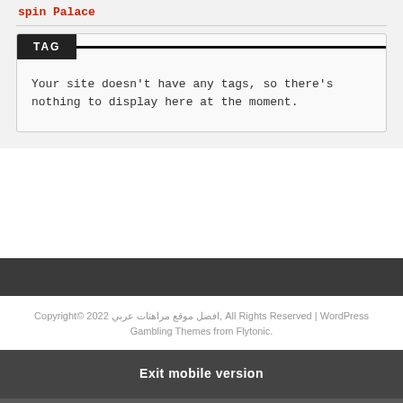spin Palace
TAG
Your site doesn't have any tags, so there's nothing to display here at the moment.
Copyright© 2022 افضل موقع مراهنات عربي, All Rights Reserved | WordPress Gambling Themes from Flytonic.
Exit mobile version